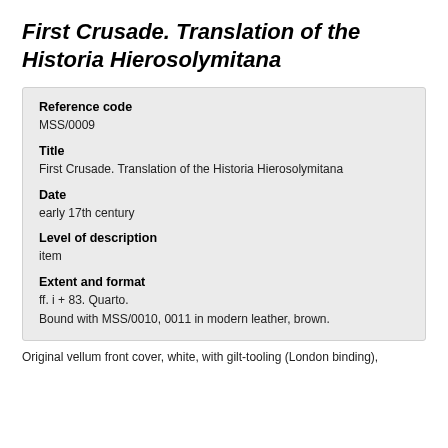First Crusade. Translation of the Historia Hierosolymitana
| Reference code | MSS/0009 |
| Title | First Crusade. Translation of the Historia Hierosolymitana |
| Date | early 17th century |
| Level of description | item |
| Extent and format | ff. i + 83. Quarto.
Bound with MSS/0010, 0011 in modern leather, brown. |
Original vellum front cover, white, with gilt-tooling (London binding),